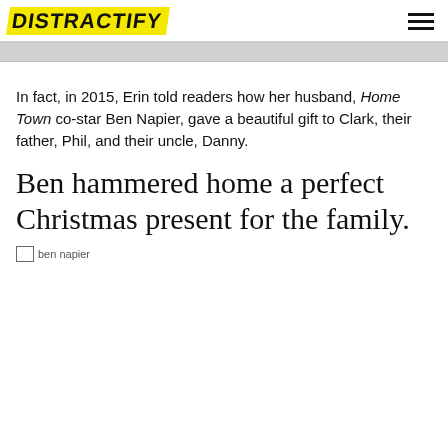DISTRACTIFY
In fact, in 2015, Erin told readers how her husband, Home Town co-star Ben Napier, gave a beautiful gift to Clark, their father, Phil, and their uncle, Danny.
Ben hammered home a perfect Christmas present for the family.
[Figure (photo): ben napier — image placeholder shown with broken image icon and alt text 'ben napier']